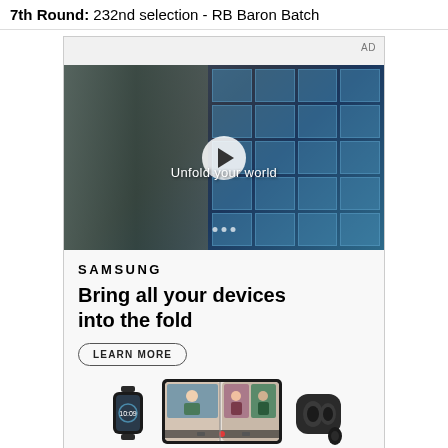7th Round: 232nd selection - RB Baron Batch
[Figure (screenshot): Samsung advertisement showing a video player with a scene of a young man in a school/cafeteria setting with blue glass tile wall. Play button overlay with text 'Unfold your world'. Below the video: Samsung logo, tagline 'Bring all your devices into the fold', a LEARN MORE button, and Samsung device images including a smartwatch, foldable phone with video call, and wireless earbuds.]